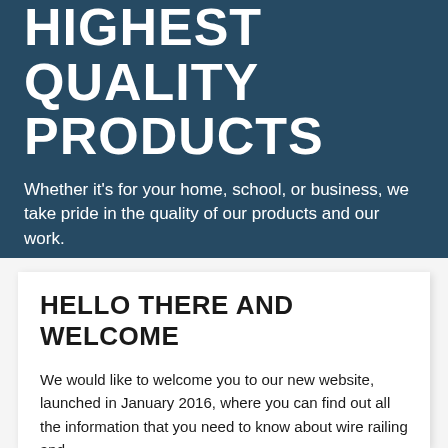HIGHEST QUALITY PRODUCTS
Whether it's for your home, school, or business, we take pride in the quality of our products and our work.
GET IN TOUCH
HELLO THERE AND WELCOME
We would like to welcome you to our new website, launched in January 2016, where you can find out all the information that you need to know about wire railing and